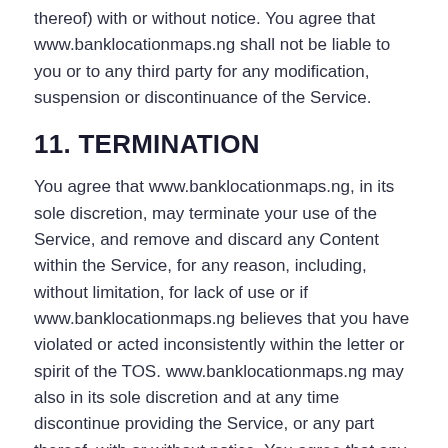thereof) with or without notice. You agree that www.banklocationmaps.ng shall not be liable to you or to any third party for any modification, suspension or discontinuance of the Service.
11. TERMINATION
You agree that www.banklocationmaps.ng, in its sole discretion, may terminate your use of the Service, and remove and discard any Content within the Service, for any reason, including, without limitation, for lack of use or if www.banklocationmaps.ng believes that you have violated or acted inconsistently within the letter or spirit of the TOS. www.banklocationmaps.ng may also in its sole discretion and at any time discontinue providing the Service, or any part thereof, with or without notice. You agree that any termination of your access to the Service under any provision of this TOS may be effected without prior notice. Further, you agree that www.banklocationmaps.ng shall not be